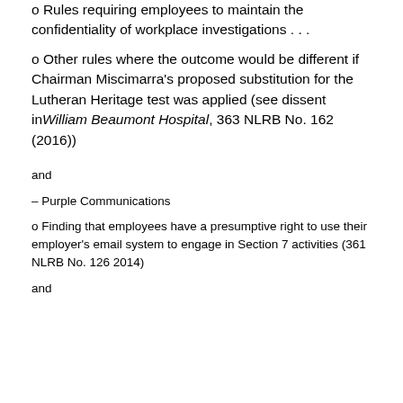o Rules requiring employees to maintain the confidentiality of workplace investigations . . .
o Other rules where the outcome would be different if Chairman Miscimarra's proposed substitution for the Lutheran Heritage test was applied (see dissent in William Beaumont Hospital, 363 NLRB No. 162 (2016))
and
– Purple Communications
o Finding that employees have a presumptive right to use their employer's email system to engage in Section 7 activities (361 NLRB No. 126 2014)
and